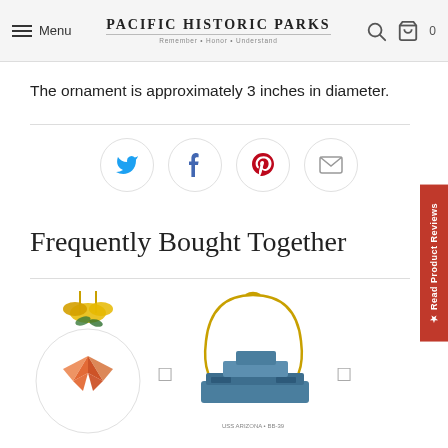Pacific Historic Parks — Menu / Search / Cart
The ornament is approximately 3 inches in diameter.
[Figure (other): Social sharing icons: Twitter (blue bird), Facebook (blue f), Pinterest (red p), Email (envelope) — each inside a circular outlined button]
Frequently Bought Together
[Figure (photo): Two Christmas ornament product thumbnail photos side by side: left is a glass globe ornament with origami crane and yellow flowers; right is a battleship/USS Missouri ornament with gold hanger arc. Between and after each are small checkbox icons.]
★ Read Product Reviews